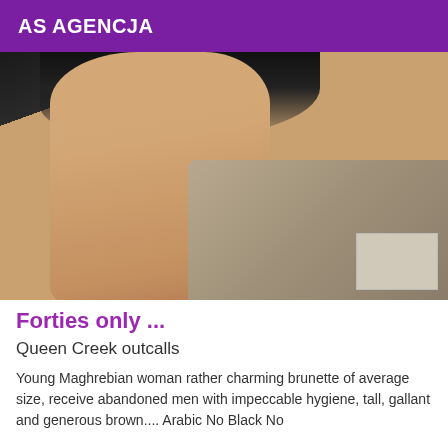AS AGENCJA
[Figure (photo): Close-up photo of a person's legs wearing dark shorts, standing on a tiled floor with a gray mat/rug visible in the background.]
Forties only ...
Queen Creek outcalls
Young Maghrebian woman rather charming brunette of average size, receive abandoned men with impeccable hygiene, tall, gallant and generous brown.... Arabic No Black No